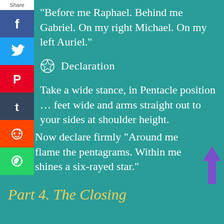“Before me Raphael. Behind me Gabriel. On my right Michael. On my left Auriel.”
⭘ Declaration
Take a wide stance, in Pentacle position … feet wide and arms straight out to your sides at shoulder height.
Now declare firmly “Around me flame the pentagrams. Within me shines a six-rayed star.”
Part 4. The Closing